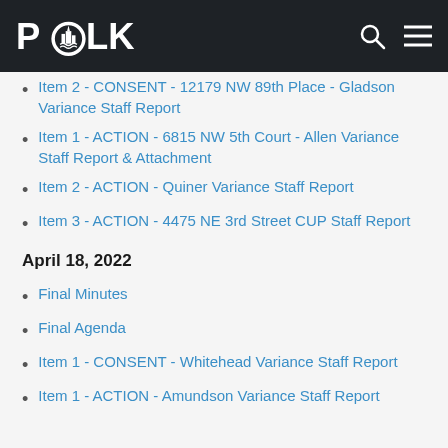POLK
Item 2 - CONSENT - 12179 NW 89th Place - Gladson Variance Staff Report
Item 1 - ACTION - 6815 NW 5th Court - Allen Variance Staff Report & Attachment
Item 2 - ACTION - Quiner Variance Staff Report
Item 3 - ACTION - 4475 NE 3rd Street CUP Staff Report
April 18, 2022
Final Minutes
Final Agenda
Item 1 - CONSENT - Whitehead Variance Staff Report
Item 1 - ACTION - Amundson Variance Staff Report